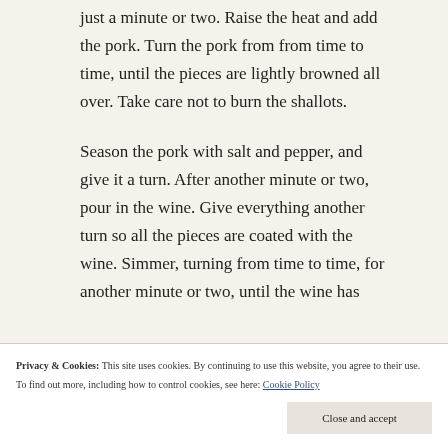just a minute or two. Raise the heat and add the pork. Turn the pork from from time to time, until the pieces are lightly browned all over. Take care not to burn the shallots.
Season the pork with salt and pepper, and give it a turn. After another minute or two, pour in the wine. Give everything another turn so all the pieces are coated with the wine. Simmer, turning from time to time, for another minute or two, until the wine has
Privacy & Cookies: This site uses cookies. By continuing to use this website, you agree to their use.
To find out more, including how to control cookies, see here: Cookie Policy